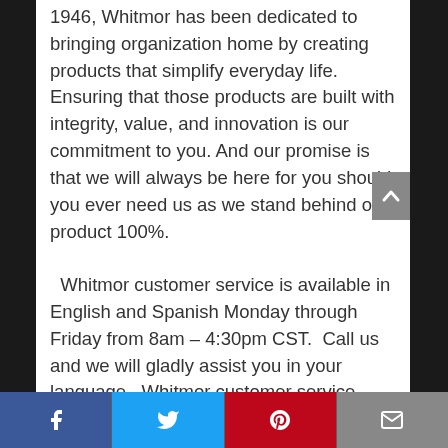1946, Whitmor has been dedicated to bringing organization home by creating products that simplify everyday life. Ensuring that those products are built with integrity, value, and innovation is our commitment to you. And our promise is that we will always be here for you should you ever need us as we stand behind our product 100%.
  Whitmor customer service is available in English and Spanish Monday through Friday from 8am – 4:30pm CST.  Call us and we will gladly assist you in your language.  Whitmor customer service Department, 1-888-944-8667 or customer_service@whitmor.com.
Facebook | Twitter | Pinterest | Email